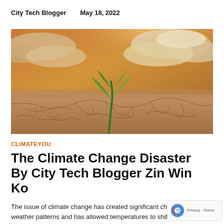City Tech Blogger    May 18, 2022
[Figure (photo): A green plant sprout growing through cracked dry earth with dramatic cloudy sky in background, symbolizing climate change and drought.]
CLIMATEYOU
The Climate Change Disaster By City Tech Blogger Zin Win Ko
The issue of climate change has created significant changes in weather patterns and has allowed temperatures to shift